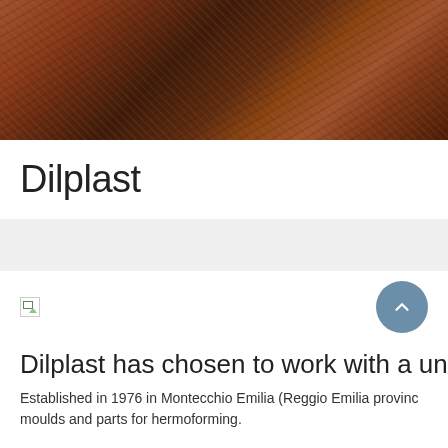[Figure (photo): Close-up textured brown/rust colored material resembling woven fabric or natural fiber, occupying the top banner area of the page]
Dilplast
[Figure (other): Gray bar/navigation area placeholder]
[Figure (other): Broken image icon (small) and a circular scroll-up button with upward chevron arrow]
Dilplast has chosen to work with a unique
Established in 1976 in Montecchio Emilia (Reggio Emilia provinc moulds and parts for hermoforming.